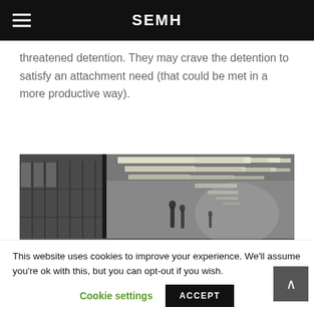SEMH
threatened detention. They may crave the detention to satisfy an attachment need (that could be met in a more productive way).
[Figure (photo): Black and white photograph of a school corridor with lockers on the left and fluorescent ceiling lights receding into the distance. Blurred figures of students visible in the hallway.]
This website uses cookies to improve your experience. We'll assume you're ok with this, but you can opt-out if you wish.
Cookie settings   ACCEPT